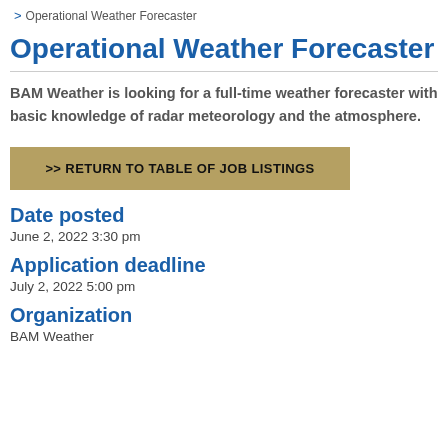> Operational Weather Forecaster
Operational Weather Forecaster
BAM Weather is looking for a full-time weather forecaster with basic knowledge of radar meteorology and the atmosphere.
>> RETURN TO TABLE OF JOB LISTINGS
Date posted
June 2, 2022 3:30 pm
Application deadline
July 2, 2022 5:00 pm
Organization
BAM Weather